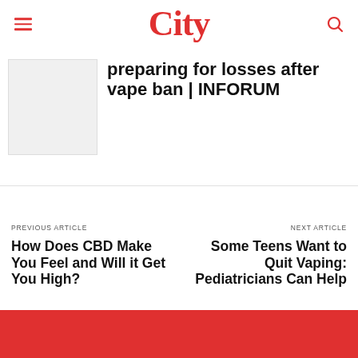City
preparing for losses after vape ban | INFORUM
[Figure (photo): Thumbnail image placeholder for article about vape ban]
PREVIOUS ARTICLE
How Does CBD Make You Feel and Will it Get You High?
NEXT ARTICLE
Some Teens Want to Quit Vaping: Pediatricians Can Help